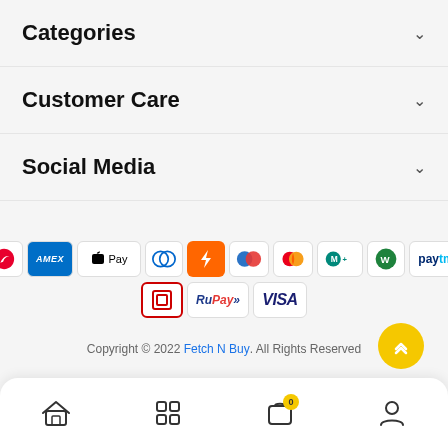Categories
Customer Care
Social Media
[Figure (infographic): Payment method icons: Airtel, AMEX, Apple Pay, Diners Club, Freecharge, Mobikwik, Mastercard, MobiKwik green, Paytm (row 1); OlaMoney, RuPay, VISA (row 2)]
Copyright © 2022 Fetch N Buy. All Rights Reserved
[Figure (infographic): Bottom navigation bar with home, categories, cart (0 items badge), and account icons]